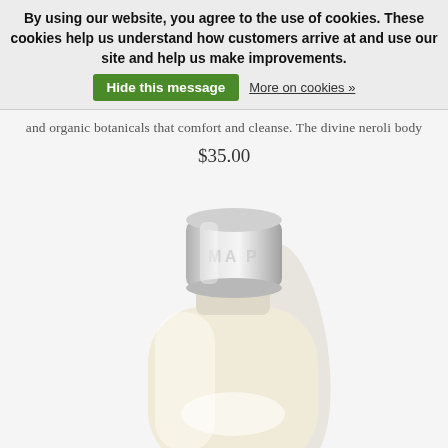By using our website, you agree to the use of cookies. These cookies help us understand how customers arrive at and use our site and help us make improvements.  Hide this message  More on cookies »
and organic botanicals that comfort and cleanse. The divine neroli body
$35.00
[Figure (photo): A cosmetic bottle (body wash/lotion) with a silver metallic cap and clear/cream-colored bottle body, shown from the top portion. The bottle has text partially visible reading 'MA P' on the cap area.]